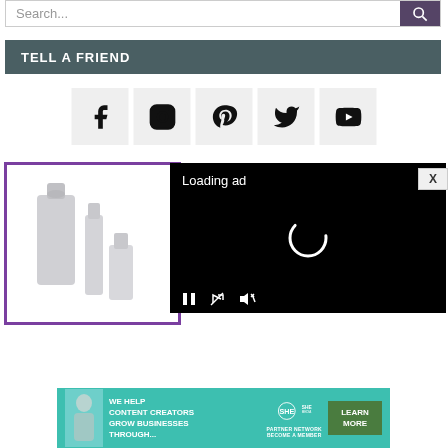Search...
TELL A FRIEND
[Figure (infographic): Social media icons row: Facebook, Instagram, Pinterest, Twitter, YouTube]
[Figure (screenshot): Video player showing 'Loading ad' with spinner and playback controls on black background]
[Figure (photo): Skincare product bottles in a purple-bordered box]
[Figure (infographic): SHE Media Partner Network advertisement banner: 'We help content creators grow businesses through...' with Learn More button]